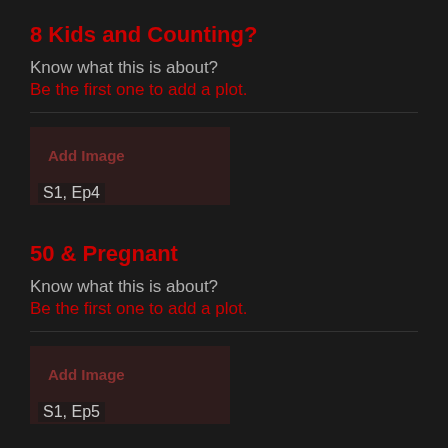8 Kids and Counting?
Know what this is about?
Be the first one to add a plot.
[Figure (other): Add Image placeholder with episode label S1, Ep4]
50 & Pregnant
Know what this is about?
Be the first one to add a plot.
[Figure (other): Add Image placeholder with episode label S1, Ep5]